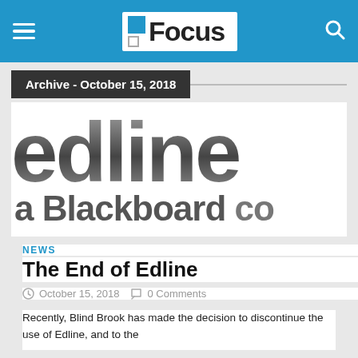Focus
Archive - October 15, 2018
[Figure (logo): Edline - a Blackboard company logo, large text showing 'edline' and 'a Blackboard co' cropped]
NEWS
The End of Edline
October 15, 2018   0 Comments
Recently, Blind Brook has made the decision to discontinue the use of Edline, and to the...